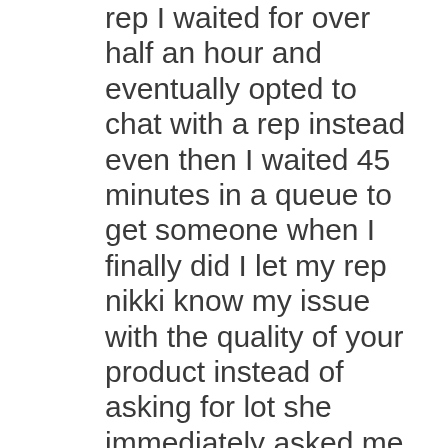rep I waited for over half an hour and eventually opted to chat with a rep instead even then I waited 45 minutes in a queue to get someone when I finally did I let my rep nikki know my issue with the quality of your product instead of asking for lot she immediately asked me why I had not returned the item to target we went back and forth as to why I didn t she even went as far as to contact target in the end there was no peace of mind and no compensation for wasting my time gas and money by the honest company the instead kept on insisting I needed to go back to target for the third time to return my product there in the end I will do as I promised the manager I had the displeasure of speaking with I will let everyone know to stay far away from your